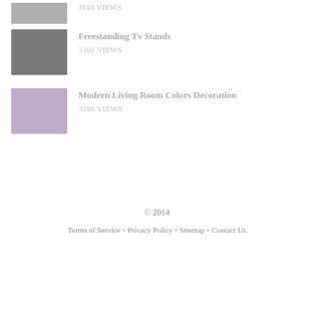Freestanding Tv Stands — 3360 VIEWS
Modern Living Room Colors Decoration — 3100 VIEWS
© 2014
Terms of Service • Privacy Policy • Sitemap • Contact Us